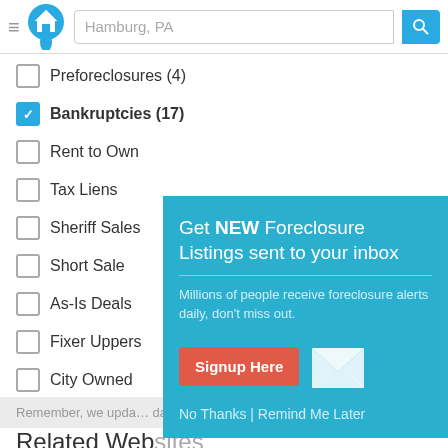[Figure (screenshot): Website header with hamburger menu, house logo, search bar with 'Hamburg, PA' placeholder, and blue search button with magnifying glass icon]
Preforeclosures (4) - unchecked
Bankruptcies (17) - checked
Rent to Own - unchecked
Tax Liens - unchecked
Sheriff Sales - unchecked
Short Sale - unchecked
As-Is Deals - unchecked
Fixer Uppers - unchecked
City Owned - unchecked
Remember, we upda... daily!
[Figure (infographic): Popup modal with teal background: 'Get NEW Foreclosure Listings sent to your inbox', body text 'Millions of people receive foreclosure alerts daily, don't miss out.', red Signup Here button, envelope icon, and links 'No Thanks | Remind Me Later']
Related Websites
Repodirect.com
Online auction for boats, cars, jet skis, etc.